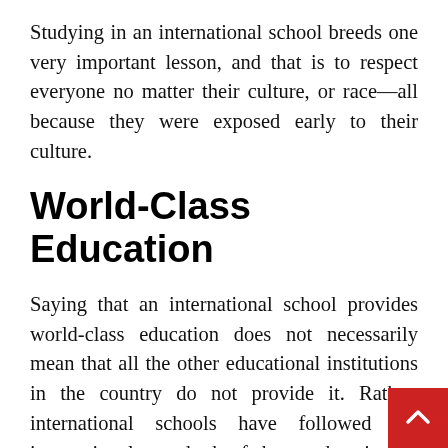Studying in an international school breeds one very important lesson, and that is to respect everyone no matter their culture, or race—all because they were exposed early to their culture.
World-Class Education
Saying that an international school provides world-class education does not necessarily mean that all the other educational institutions in the country do not provide it. Rather, international schools have followed the international standard of how education is supposed to work, the K-12 system, years before the Philippines forcefully implemented it to